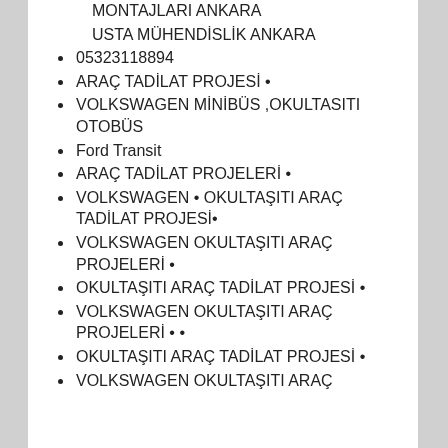MONTAJLARI ANKARA
USTA MÜHENDİSLİK ANKARA
05323118894
ARAÇ TADİLAT PROJESİ •
VOLKSWAGEN MİNİBÜS ,OKULTASITI OTOBÜS
Ford Transit
ARAÇ TADİLAT PROJELERİ •
VOLKSWAGEN • OKULTAŞITI ARAÇ TADİLAT PROJESİ•
VOLKSWAGEN OKULTAŞITI ARAÇ PROJELERİ •
OKULTAŞITI ARAÇ TADİLAT PROJESİ •
VOLKSWAGEN OKULTAŞITI ARAÇ PROJELERİ • •
OKULTAŞITI ARAÇ TADİLAT PROJESİ •
VOLKSWAGEN OKULTAŞITI ARAÇ